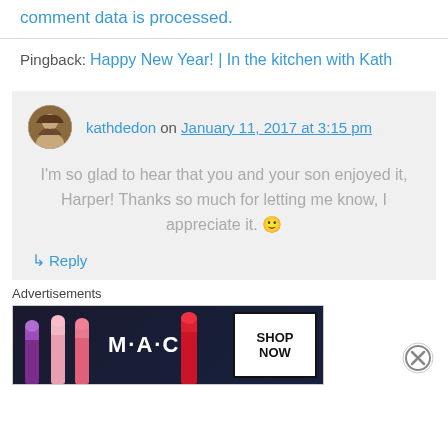comment data is processed.
Pingback: Happy New Year! | In the kitchen with Kath
kathdedon on January 11, 2017 at 3:15 pm
I'm so glad to hear that you and your son enjoyed it, Harper! Thanks so much for letting me know, I appreciate it. 🙂
↳ Reply
Advertisements
[Figure (photo): MAC cosmetics advertisement banner showing lipsticks with SHOP NOW text]